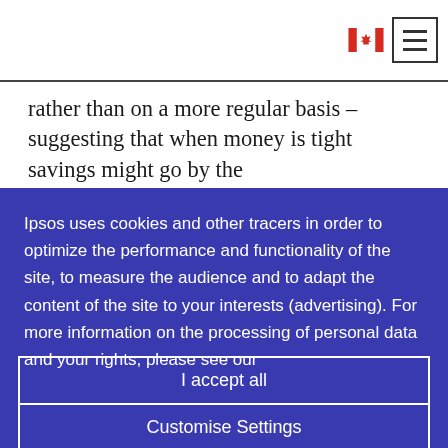[Canadian flag icon] [Hamburger menu button]
rather than on a more regular basis – suggesting that when money is tight savings might go by the
Ipsos uses cookies and other tracers in order to optimize the performance and functionality of the site, to measure the audience and to adapt the content of the site to your interests (advertising). For more information on the processing of personal data and your rights, please see our
I accept all
Customise Settings